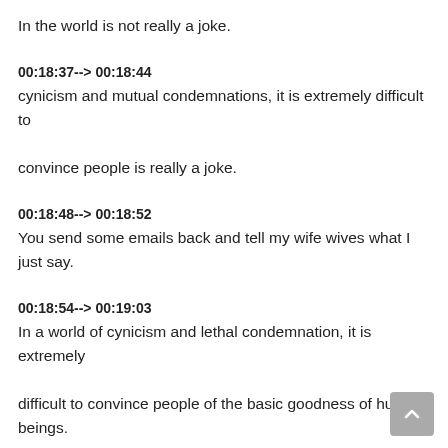In the world is not really a joke.
00:18:37--> 00:18:44
cynicism and mutual condemnations, it is extremely difficult to convince people is really a joke.
00:18:48--> 00:18:52
You send some emails back and tell my wife wives what I just say.
00:18:54--> 00:19:03
In a world of cynicism and lethal condemnation, it is extremely difficult to convince people of the basic goodness of human beings.
00:19:04--> 00:19:15
And in a world where most everyone has been harmed, and assaulted